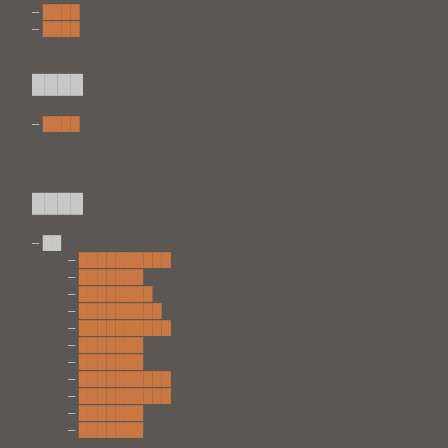– ████
– ████
████
– ████
████
– ██
– ██████████
– ███████
– ████████
– █████████
– ██████████
– ███████
– ███████
– ██████████
– ██████████
– ███████
– ███████